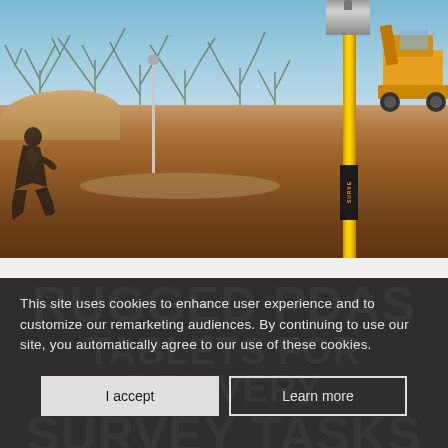[Figure (photo): Outdoor construction site photo showing a surveyor crouching in the left foreground, a yellow survey pole with GNSS receiver in the right foreground, a second survey rod in the background, bare winter trees, dirt/earth ground, and a yellow excavator/wheel loader partially visible in the upper right. Sky is light blue.]
This site uses cookies to enhance user experience and to customize our remarketing audiences. By continuing to use our site, you automatically agree to our use of these cookies.
I accept
Learn more
RUGGED PDAS TABLETS FOR SURVEY TASKS